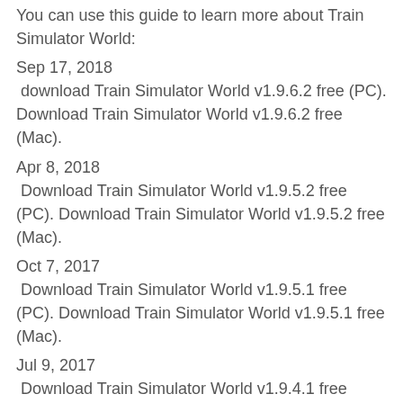You can use this guide to learn more about Train Simulator World:
Sep 17, 2018
 download Train Simulator World v1.9.6.2 free (PC). Download Train Simulator World v1.9.6.2 free (Mac).
Apr 8, 2018
 Download Train Simulator World v1.9.5.2 free (PC). Download Train Simulator World v1.9.5.2 free (Mac).
Oct 7, 2017
 Download Train Simulator World v1.9.5.1 free (PC). Download Train Simulator World v1.9.5.1 free (Mac).
Jul 9, 2017
 Download Train Simulator World v1.9.4.1 free (PC). Download Train Simulator World v1.9.4.1 free (Mac).
Sep 29, 2016
 Download Train Simulator World v1.9.3.1 free (PC). Download Train Simulator World